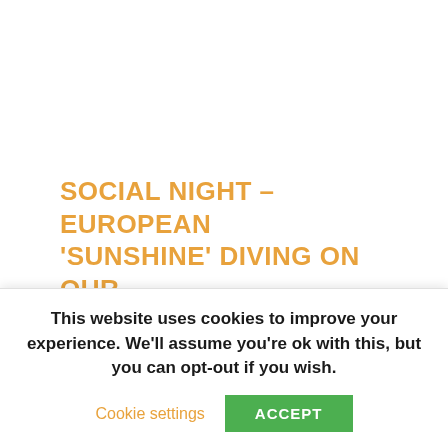SOCIAL NIGHT – EUROPEAN 'SUNSHINE' DIVING ON OUR DOORSTEP
The Norbiton, October 12th 2017 8pm Whilst we love our UK diving at Aquanaut, and we all dream of that long haul trip of a lifetime, sometimes it would be nice to just jump on a plane for a
This website uses cookies to improve your experience. We'll assume you're ok with this, but you can opt-out if you wish.
Cookie settings
ACCEPT